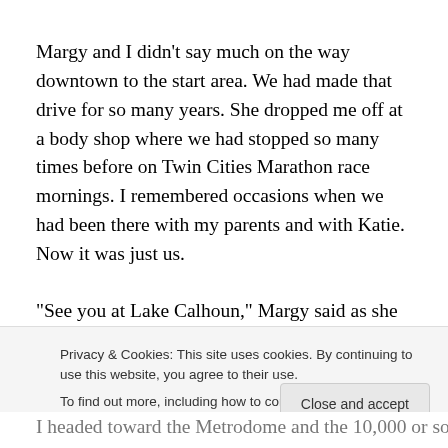Margy and I didn't say much on the way downtown to the start area. We had made that drive for so many years. She dropped me off at a body shop where we had stopped so many times before on Twin Cities Marathon race mornings. I remembered occasions when we had been there with my parents and with Katie. Now it was just us.
“See you at Lake Calhoun,” Margy said as she took off. The sun had risen enough to see pretty well but it was still
Privacy & Cookies: This site uses cookies. By continuing to use this website, you agree to their use. To find out more, including how to control cookies, see here: Cookie Policy
I headed toward the Metrodome and the 10,000 or so